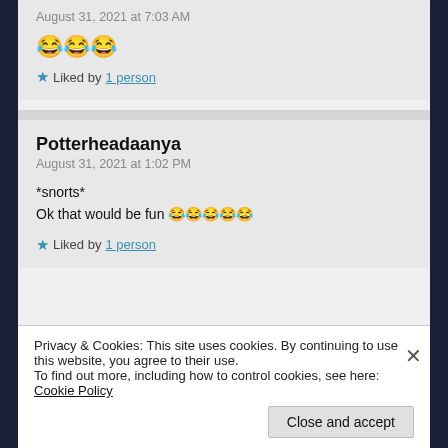August 31, 2021 at 7:03 AM
😂😂😂
★ Liked by 1 person
Potterheadaanya
August 31, 2021 at 1:02 PM
*snorts*
Ok that would be fun 😂😂😂😂😂
★ Liked by 1 person
Privacy & Cookies: This site uses cookies. By continuing to use this website, you agree to their use. To find out more, including how to control cookies, see here: Cookie Policy
Close and accept